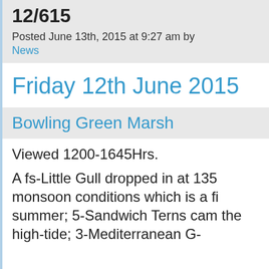12/615
Posted June 13th, 2015 at 9:27 am by
News
Friday 12th June 2015
Bowling Green Marsh
Viewed 1200-1645Hrs.
A fs-Little Gull dropped in at 135 monsoon conditions which is a fi summer; 5-Sandwich Terns cam the high-tide; 3-Mediterranean G-